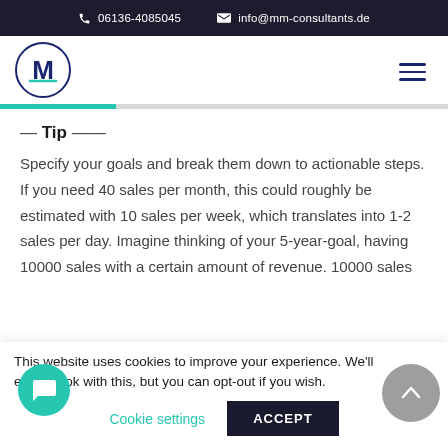06136-4085045   info@mm-consultants.de
[Figure (logo): MM Consultants circular logo with stylized M in navy and teal]
— Tip —
Specify your goals and break them down to actionable steps. If you need 40 sales per month, this could roughly be estimated with 10 sales per week, which translates into 1-2 sales per day. Imagine thinking of your 5-year-goal, having 10000 sales with a certain amount of revenue. 10000 sales
This website uses cookies to improve your experience. We'll e you're ok with this, but you can opt-out if you wish.
Cookie settings   ACCEPT